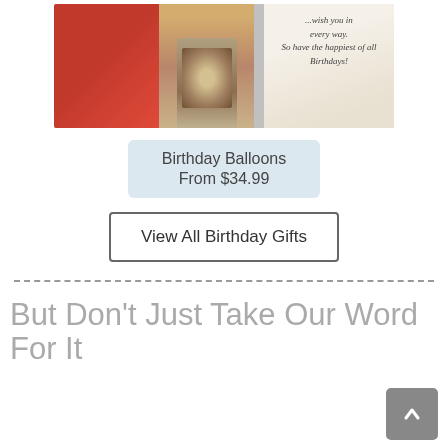[Figure (photo): Birthday gift product photo showing a red box with 'Happy Birthday' text, a glass jar filled with shells and sand, and a birthday greeting card with script text]
Birthday Balloons
From $34.99
View All Birthday Gifts
But Don't Just Take Our Word For It